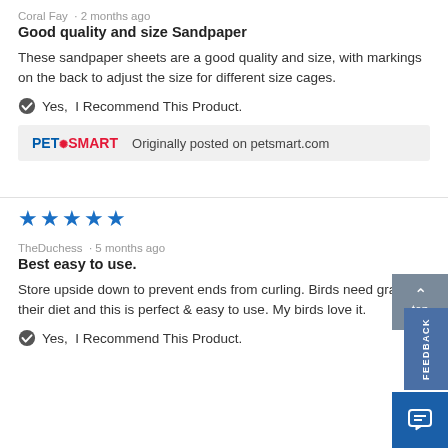Coral Fay · 2 months ago
Good quality and size Sandpaper
These sandpaper sheets are a good quality and size, with markings on the back to adjust the size for different size cages.
✔ Yes,  I Recommend This Product.
[Figure (logo): PetSmart logo with Originally posted on petsmart.com text]
[Figure (other): Five blue star rating]
TheDuchess · 5 months ago
Best easy to use.
Store upside down to prevent ends from curling. Birds need gravel in their diet and this is perfect & easy to use. My birds love it.
✔ Yes,  I Recommend This Product.